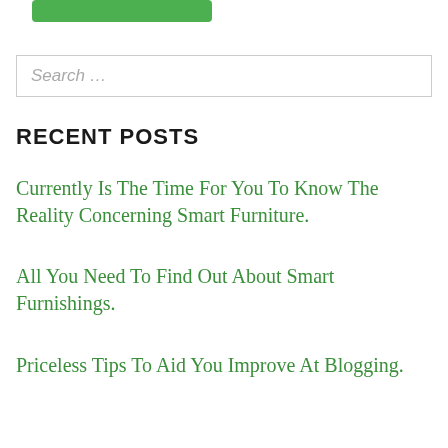[Figure (other): Green button/banner at top of page (partial, cropped)]
Search …
RECENT POSTS
Currently Is The Time For You To Know The Reality Concerning Smart Furniture.
All You Need To Find Out About Smart Furnishings.
Priceless Tips To Aid You Improve At Blogging.